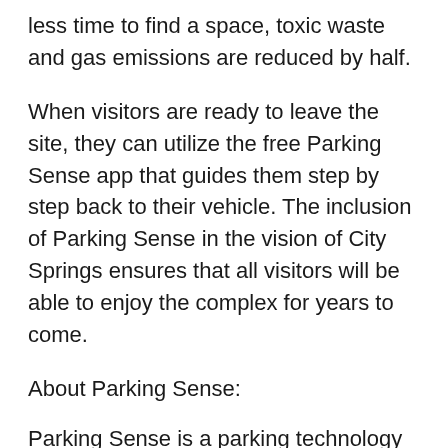less time to find a space, toxic waste and gas emissions are reduced by half.
When visitors are ready to leave the site, they can utilize the free Parking Sense app that guides them step by step back to their vehicle. The inclusion of Parking Sense in the vision of City Springs ensures that all visitors will be able to enjoy the complex for years to come.
About Parking Sense:
Parking Sense is a parking technology organization focused on delivering a comprehensive suite of intelligent solutions to the parking, transportation and mobility industries. Parking Sense delivers a unique